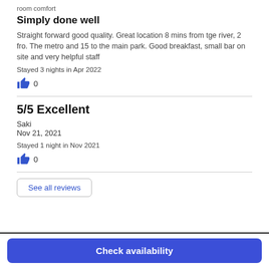room comfort
Simply done well
Straight forward good quality. Great location 8 mins from tge river, 2 fro. The metro and 15 to the main park. Good breakfast, small bar on site and very helpful staff
Stayed 3 nights in Apr 2022
👍 0
5/5 Excellent
Saki
Nov 21, 2021
Stayed 1 night in Nov 2021
👍 0
See all reviews
Check availability